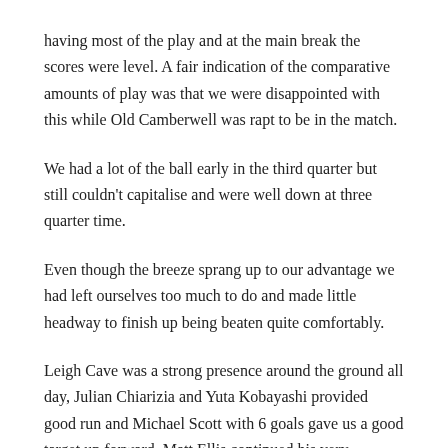having most of the play and at the main break the scores were level. A fair indication of the comparative amounts of play was that we were disappointed with this while Old Camberwell was rapt to be in the match.
We had a lot of the ball early in the third quarter but still couldn't capitalise and were well down at three quarter time.
Even though the breeze sprang up to our advantage we had left ourselves too much to do and made little headway to finish up being beaten quite comfortably.
Leigh Cave was a strong presence around the ground all day, Julian Chiarizia and Yuta Kobayashi provided good run and Michael Scott with 6 goals gave us a good target up forward. Matt Ellis continued his very consistent form in defence but we had few players who did themselves justice.